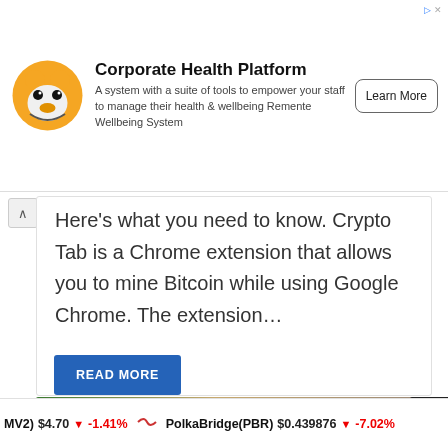[Figure (infographic): Advertisement banner for Corporate Health Platform by Remente Wellbeing System. Shows a cartoon mascot (yellow bear face), bold title 'Corporate Health Platform', description text, and a 'Learn More' button. AdChoices icon top right.]
Here's what you need to know. Crypto Tab is a Chrome extension that allows you to mine Bitcoin while using Google Chrome. The extension…
[Figure (other): READ MORE button — blue rectangle with white bold text]
[Figure (photo): Bottom image strip showing decorative green snowflakes/ribbons and what appears to be a person's hair and golden object, partially visible]
MV2) $4.70 ↓ -1.41% PolkaBridge(PBR) $0.439876 ↓ -7.02%